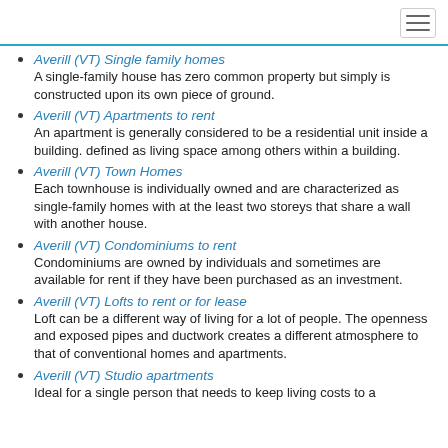Averill (VT) Single family homes
A single-family house has zero common property but simply is constructed upon its own piece of ground.
Averill (VT) Apartments to rent
An apartment is generally considered to be a residential unit inside a building. defined as living space among others within a building.
Averill (VT) Town Homes
Each townhouse is individually owned and are characterized as single-family homes with at the least two storeys that share a wall with another house.
Averill (VT) Condominiums to rent
Condominiums are owned by individuals and sometimes are available for rent if they have been purchased as an investment.
Averill (VT) Lofts to rent or for lease
Loft can be a different way of living for a lot of people. The openness and exposed pipes and ductwork creates a different atmosphere to that of conventional homes and apartments.
Averill (VT) Studio apartments
Ideal for a single person that needs to keep living costs to a